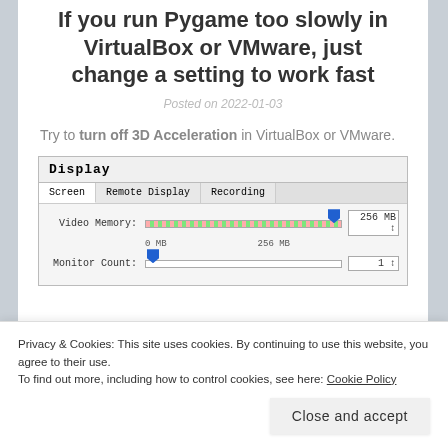If you run Pygame too slowly in VirtualBox or VMware, just change a setting to work fast
Posted on 2022-01-03
Try to turn off 3D Acceleration in VirtualBox or VMware.
[Figure (screenshot): VirtualBox Display settings dialog showing Screen, Remote Display, and Recording tabs. Video Memory slider set to 256 MB with colorful track. Monitor Count slider set to 1.]
Privacy & Cookies: This site uses cookies. By continuing to use this website, you agree to their use.
To find out more, including how to control cookies, see here: Cookie Policy
Close and accept